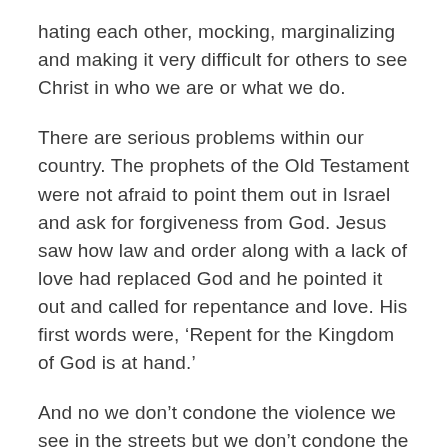hating each other, mocking, marginalizing and making it very difficult for others to see Christ in who we are or what we do.
There are serious problems within our country. The prophets of the Old Testament were not afraid to point them out in Israel and ask for forgiveness from God. Jesus saw how law and order along with a lack of love had replaced God and he pointed it out and called for repentance and love. His first words were, ‘Repent for the Kingdom of God is at hand.’
And no we don’t condone the violence we see in the streets but we don’t condone the injustice that leads to such violence and we don’t condone the language and actions that come from the leader of this country.